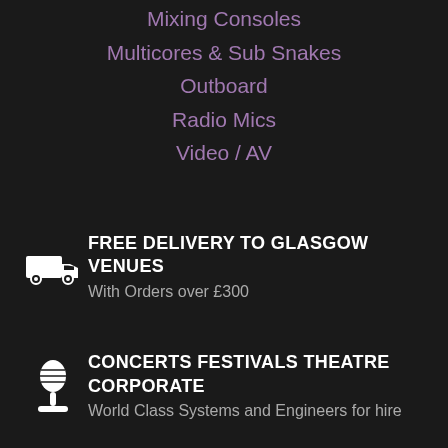Mixing Consoles
Multicores & Sub Snakes
Outboard
Radio Mics
Video / AV
FREE DELIVERY TO GLASGOW VENUES
With Orders over £300
CONCERTS FESTIVALS THEATRE CORPORATE
World Class Systems and Engineers for hire
NEW & USED EQUIPMENT SALES
Contact us for advice or information